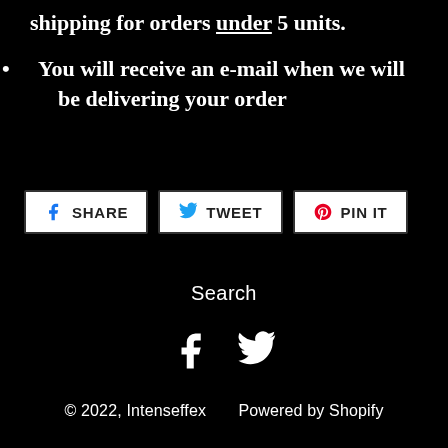shipping for orders under 5 units.
You will receive an e-mail when we will be delivering your order
SHARE   TWEET   PIN IT
Search
[Figure (other): Facebook and Twitter social media icons in white on black background]
© 2022, Intenseffex     Powered by Shopify